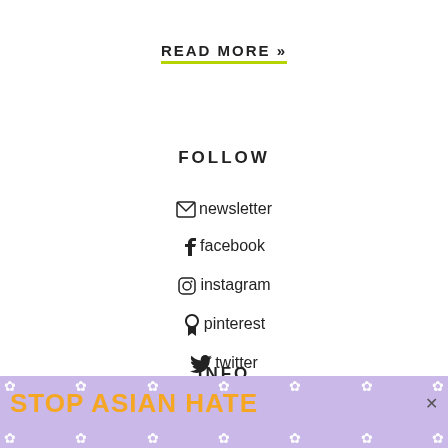READ MORE »
FOLLOW
newsletter
facebook
instagram
pinterest
twitter
INFO
about
[Figure (other): Stop Asian Hate advertisement banner with purple background, orange bold text, flower decorations, and anime character]